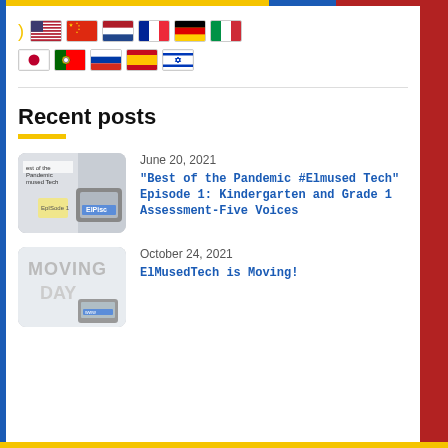[Figure (illustration): Row of country flag icons: USA, China, Netherlands, France, Germany, Italy]
[Figure (illustration): Row of country flag icons: Japan, Portugal, Russia, Spain, Israel]
Recent posts
[Figure (photo): Thumbnail showing laptop with 'Best of the Pandemic Elmused Tech' text]
June 20, 2021
"Best of the Pandemic #Elmused Tech" Episode 1: Kindergarten and Grade 1 Assessment-Five Voices
[Figure (photo): Thumbnail showing 'MOVING DAY' written on a board with a laptop]
October 24, 2021
ElMusedTech is Moving!